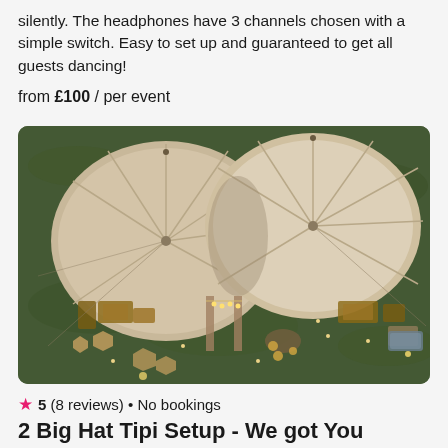silently. The headphones have 3 channels chosen with a simple switch. Easy to set up and guaranteed to get all guests dancing!
from £100 / per event
[Figure (photo): Aerial view of two large hat tipi tents on grass with outdoor furniture, string lights, and seating areas arranged around them at dusk.]
★ 5 (8 reviews) • No bookings
2 Big Hat Tipi Setup - We got You Covered